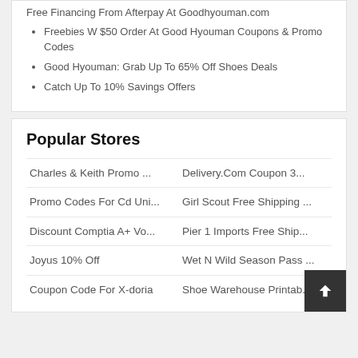Free Financing From Afterpay At Goodhyouman.com
Freebies W $50 Order At Good Hyouman Coupons & Promo Codes
Good Hyouman: Grab Up To 65% Off Shoes Deals
Catch Up To 10% Savings Offers
Popular Stores
Charles & Keith Promo ...
Delivery.Com Coupon 3...
Promo Codes For Cd Uni...
Girl Scout Free Shipping ...
Discount Comptia A+ Vo...
Pier 1 Imports Free Ship...
Joyus 10% Off
Wet N Wild Season Pass ...
Coupon Code For X-doria
Shoe Warehouse Printab...